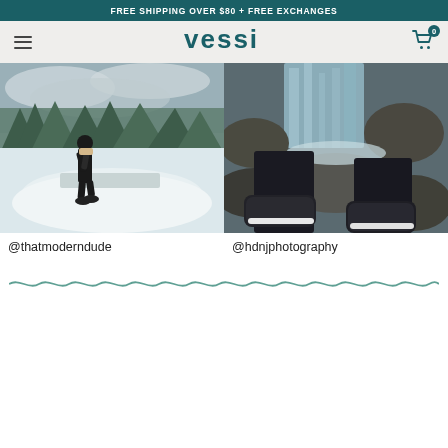FREE SHIPPING OVER $80 + FREE EXCHANGES
[Figure (logo): Vessi brand logo with hamburger menu and shopping cart icon with 0 badge]
[Figure (photo): Person walking in snowy mountain landscape wearing dark clothing and Vessi shoes]
@thatmoderndude
[Figure (photo): Person's feet in dark Vessi sneakers resting on rocks next to a waterfall]
@hdnjphotography